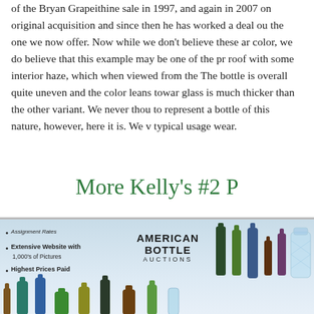of the Bryan Grapeithine sale in 1997, and again in 2007 on original acquisition and since then he has worked a deal ou the one we now offer. Now while we don't believe these ar color, we do believe that this example may be one of the pr roof with some interior haze, which when viewed from the The bottle is overall quite uneven and the color leans towar glass is much thicker than the other variant. We never thou to represent a bottle of this nature, however, here it is. We typical usage wear.
More Kelly's #2 P
[Figure (photo): American Bottle Auctions advertisement showing multiple antique bottles on a light blue background. Text includes bullet points: Extensive Assignment Rates, 1,000's of Website with Pictures, Highest Prices Paid. The American Bottle Auctions logo is centered. Various bottle silhouettes are visible.]